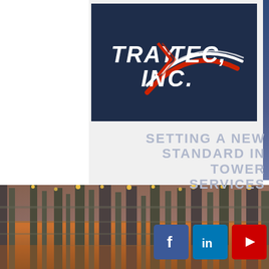[Figure (logo): Tray-Tec, Inc. logo on dark navy background with red and white swoosh graphic]
SETTING A NEW STANDARD IN TOWER SERVICES
[Figure (infographic): Social media icons: Facebook (blue square with f), LinkedIn (blue square with in), YouTube (red square with play button triangle)]
[Figure (photo): Industrial petrochemical refinery at dusk with towers, pipes, and lights against an orange and blue sky]